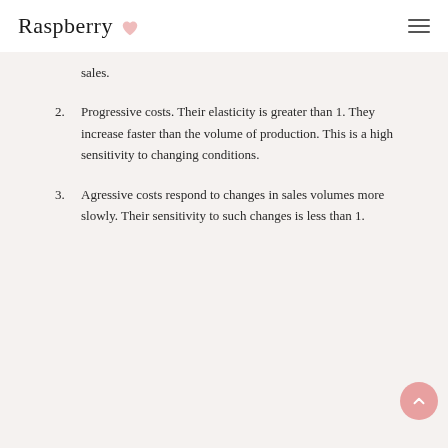Raspberry
sales.
2. Progressive costs. Their elasticity is greater than 1. They increase faster than the volume of production. This is a high sensitivity to changing conditions.
3. Agressive costs respond to changes in sales volumes more slowly. Their sensitivity to such changes is less than 1.